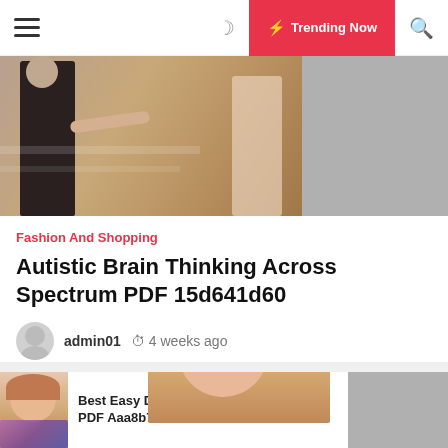Navigation bar with hamburger menu, moon icon, Trending Now button, search icon
[Figure (photo): Hero image showing two people, partial figures, warm toned background]
Fashion And Shopping
Autistic Brain Thinking Across Spectrum PDF 15d641d60
admin01   4 weeks ago
Read Online and Download Ebook The Autistic Brain: Thinking Across the Spectrum. PDF file from our online library
[Figure (photo): Partial photo of woman with reddish-brown hair]
Best Easy Day Hikes Riverside Ebook PDF Aaa8b7ea0
[Figure (photo): Small photo of people]
Dive Story 52a9f60f3